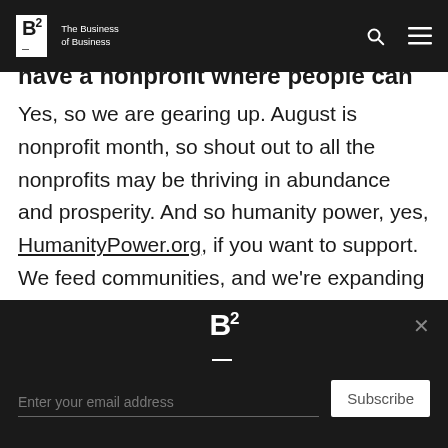B2 The Business of Business
Yes, so we are gearing up. August is nonprofit month, so shout out to all the nonprofits may be thriving in abundance and prosperity. And so humanity power, yes, HumanityPower.org, if you want to support. We feed communities, and we're expanding that we feed the house and we're expanding that and we're also teaching communities how to build community, you know, we don't have porches anymore. So you can't just go hang out on the porch. How do you build community because there is unity in our community, so or there's unity in our humanity, and there's also unity in the community. So you
B2 — Subscribe newsletter footer